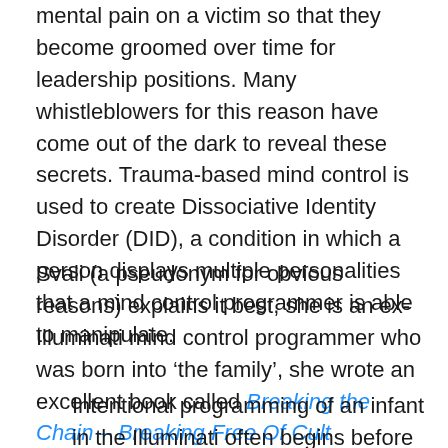mental pain on a victim so that they become groomed over time for leadership positions. Many whistleblowers for this reason have come out of the dark to reveal these secrets. Trauma-based mind control is used to create Dissociative Identity Disorder (DID), a condition in which a person displays multiple personalities that a mind control programmer is able to manipulate.
Svali (a pseudonym for obvious reasons) explains it best, she is an ex-Illuminati mind control programmer who was born into ‘the family’, she wrote an excellent book called Breaking the Chain – Breaking Free Of Cult Programming that exposes the nature of the cult in great detail.
Intentional programming of an infant in the Illuminati often begins before birth. Prenatal splitting is well known in the cult, as the fetus is very capable of